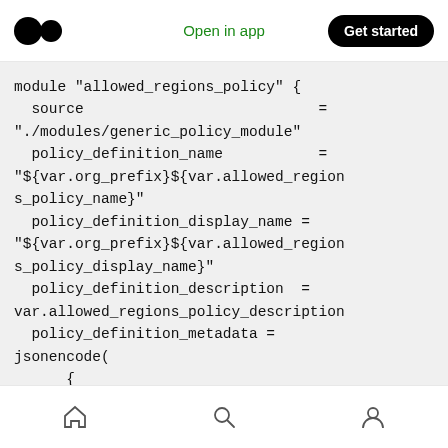Open in app | Get started
[Figure (screenshot): Code block showing Terraform/HCL module configuration for allowed_regions_policy]
Home | Search | Profile navigation icons